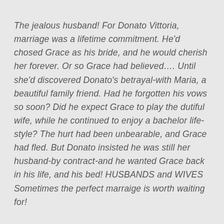The jealous husband! For Donato Vittoria, marriage was a lifetime commitment. He'd chosed Grace as his bride, and he would cherish her forever. Or so Grace had believed…. Until she'd discovered Donato's betrayal-with Maria, a beautiful family friend. Had he forgotten his vows so soon? Did he expect Grace to play the dutiful wife, while he continued to enjoy a bachelor life-style? The hurt had been unbearable, and Grace had fled. But Donato insisted he was still her husband-by contract-and he wanted Grace back in his life, and his bed! HUSBANDS and WIVES Sometimes the perfect marraige is worth waiting for!